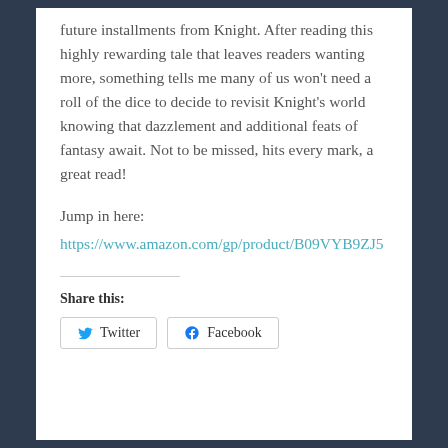future installments from Knight. After reading this highly rewarding tale that leaves readers wanting more, something tells me many of us won't need a roll of the dice to decide to revisit Knight's world knowing that dazzlement and additional feats of fantasy await. Not to be missed, hits every mark, a great read!
Jump in here:
https://www.amazon.com/gp/product/B09VYB9ZJ5
Share this:
Twitter   Facebook